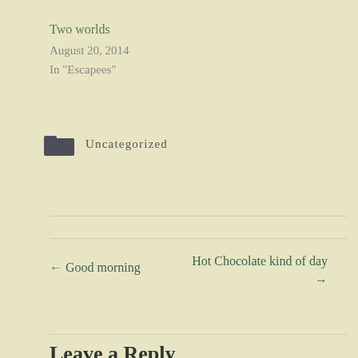Two worlds
August 20, 2014
In "Escapees"
Uncategorized
← Good morning
Hot Chocolate kind of day →
Leave a Reply